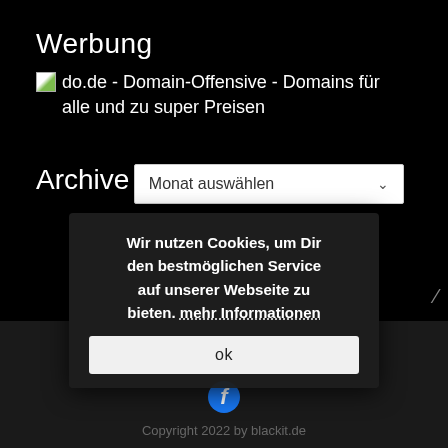Werbung
do.de - Domain-Offensive - Domains für alle und zu super Preisen
Archive
Monat auswählen
Impressum – Disclaimer – Datenschutzerklärung
Wir nutzen Cookies, um Dir den bestmöglichen Service auf unserer Webseite zu bieten. mehr Informationen
ok
Copyright 2022 by blackit.de